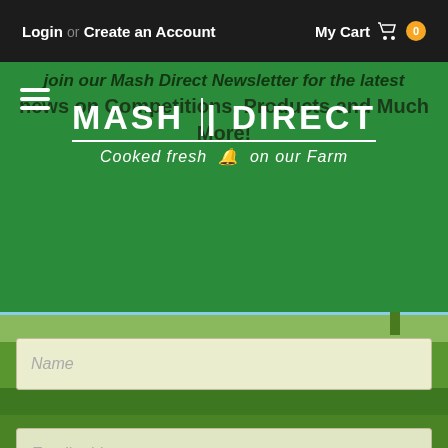Login or Create an Account  My Cart 0
join our Mash Direct Newsletter for the latest news on Competitions, Products and Much More!
[Figure (logo): Mash Direct logo with text 'MASH | DIRECT' and tagline 'Cooked fresh on our Farm']
Name
Email address
By checking this box, I agree to receive Mash Direct email marketing materials. We promise to only use your information for email marketing purposes. You can unsubscribe at any time by clicking the unsubscribe link in the footer of our emails, or by contacting us at marketing@mashdirect.com